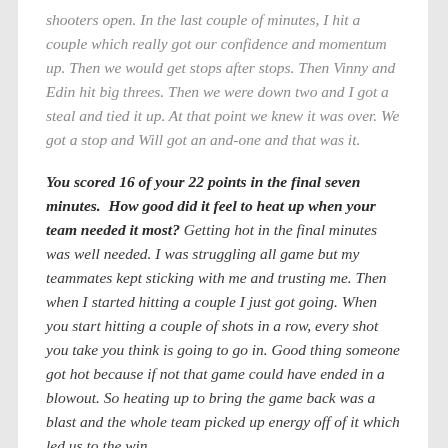shooters open. In the last couple of minutes, I hit a couple which really got our confidence and momentum up. Then we would get stops after stops. Then Vinny and Edin hit big threes. Then we were down two and I got a steal and tied it up. At that point we knew it was over. We got a stop and Will got an and-one and that was it.
You scored 16 of your 22 points in the final seven minutes. How good did it feel to heat up when your team needed it most? Getting hot in the final minutes was well needed. I was struggling all game but my teammates kept sticking with me and trusting me. Then when I started hitting a couple I just got going. When you start hitting a couple of shots in a row, every shot you take you think is going to go in. Good thing someone got hot because if not that game could have ended in a blowout. So heating up to bring the game back was a blast and the whole team picked up energy off of it which led us to the win.